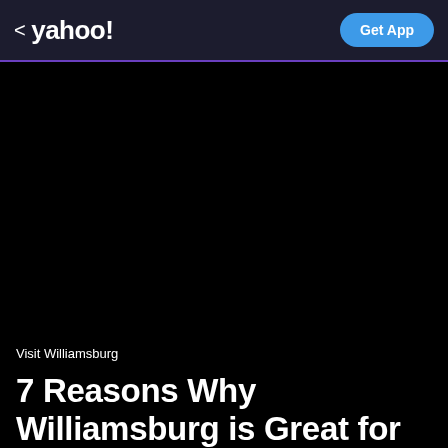< yahoo!  Get App
[Figure (photo): Large black image area below the Yahoo header bar, representing a dark/unloaded article hero image]
Visit Williamsburg
7 Reasons Why Williamsburg is Great for